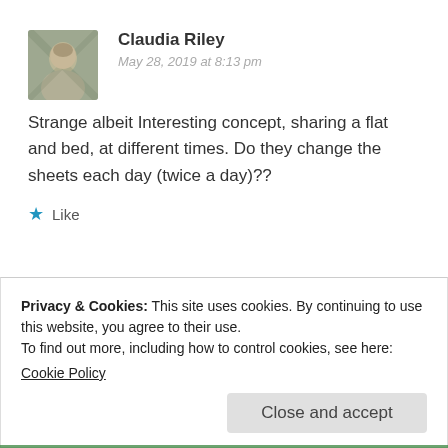[Figure (photo): Small avatar photo of Claudia Riley, a person outdoors]
Claudia Riley
May 28, 2019 at 8:13 pm
Strange albeit Interesting concept, sharing a flat and bed, at different times. Do they change the sheets each day (twice a day)??
★ Like
Reply
Privacy & Cookies: This site uses cookies. By continuing to use this website, you agree to their use.
To find out more, including how to control cookies, see here:
Cookie Policy
Close and accept